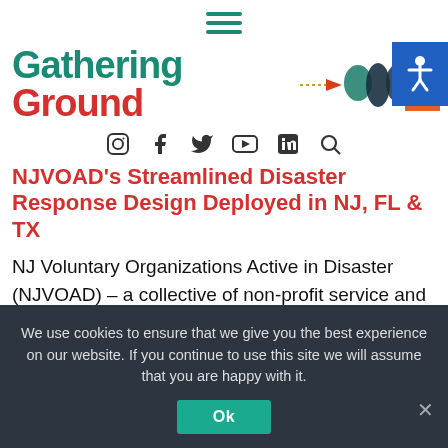[Figure (logo): Hamburger menu icon with three horizontal teal lines]
[Figure (logo): Gathering Ground logo with teal 'Gathering' and red 'Ground' text, dotted line, and colorful waveform graphic on right; accessibility icon button top right corner]
[Figure (infographic): Row of social media icons: Instagram, Facebook, Twitter/X, YouTube, LinkedIn, Search]
NJVOAD's Streamlined Disaster Response Design Deployed in NJ, FL & TX
NJ Voluntary Organizations Active in Disaster (NJVOAD) – a collective of non-profit service and faith-based organizations working in partnership with government and private sector partners throughout NJ – recognized that the lessons from NJ's experience with Hurricane
We use cookies to ensure that we give you the best experience on our website. If you continue to use this site we will assume that you are happy with it.
Ok